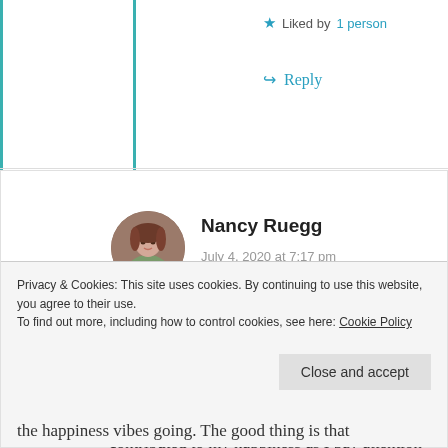★ Liked by 1 person
↪ Reply
Nancy Ruegg
July 4, 2020 at 7:17 pm
[Figure (photo): Circular avatar photo of Nancy Ruegg, a woman with brown hair]
I started a gratitude journal three years ago, writing down each day just one or two things to celebrate from the previous 24 hours. It's certainly contributed to my happiness as I pay attention to the happiness vibes going. The good thing is that
Privacy & Cookies: This site uses cookies. By continuing to use this website, you agree to their use. To find out more, including how to control cookies, see here: Cookie Policy
Close and accept